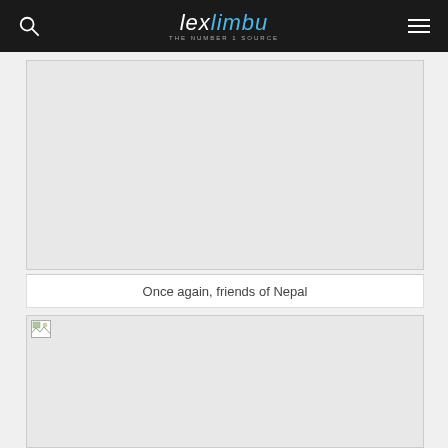lexlimbu THE NUMBER 1 SOURCE
[Figure (photo): Large image placeholder area - gray empty box]
Once again, friends of Nepal
[Figure (photo): Second image placeholder area with broken image icon in top-left corner]